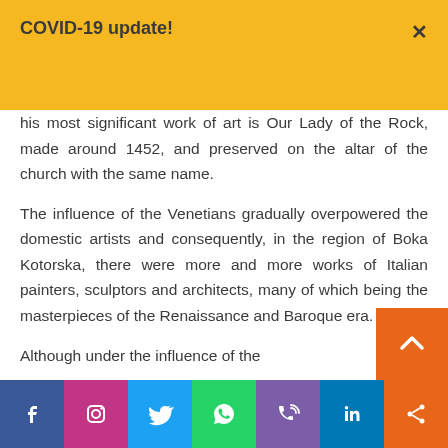COVID-19 update!
his most significant work of art is Our Lady of the Rock, made around 1452, and preserved on the altar of the church with the same name.
The influence of the Venetians gradually overpowered the domestic artists and consequently, in the region of Boka Kotorska, there were more and more works of Italian painters, sculptors and architects, many of which being the masterpieces of the Renaissance and Baroque era.
Although under the influence of the
Social media links: Facebook, Instagram, Twitter, WhatsApp, Phone, LinkedIn, Share